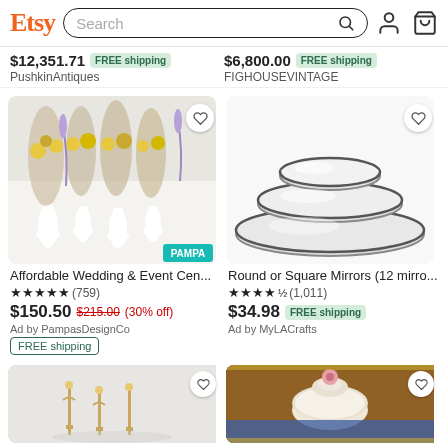Etsy Search
$12,351.71 FREE shipping PushkinAntiques
$6,800.00 FREE shipping FIGHOUSEVINTAGE
[Figure (photo): Affordable Wedding & Event centerpiece with dried flowers in white vases on table, PAMPA watermark]
Affordable Wedding & Event Cen...
★★★★★ (759)
$150.50 $215.00 (30% off)
Ad by PampasDesignCo
FREE shipping
[Figure (photo): Round or Square Mirrors set of three stacked round mirrors with dark edges]
Round or Square Mirrors (12 mirro...
★★★★½ (1,011)
$34.98 FREE shipping
Ad by MyLACrafts
[Figure (photo): Bottom left product image - candelabra]
[Figure (photo): Bottom right product image - ornate bowl with gold frame]